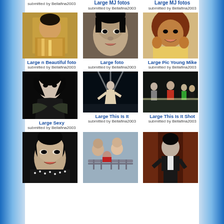Large MJ fotos
submitted by Bellafina2003
Large MJ fotos
submitted by Bellafina2003
[Figure (photo): Michael Jackson in gold outfit]
Large n Beautiful foto
submitted by Bellafina2003
[Figure (photo): Michael Jackson close-up face portrait]
Large foto
submitted by Bellafina2003
[Figure (photo): Young Michael Jackson with afro]
Large Pic Young Mike
submitted by Bellafina2003
[Figure (photo): Michael Jackson in black outfit - Large Sexy]
Large Sexy
submitted by Bellafina2003
[Figure (photo): Michael Jackson performing This Is It concert]
Large This Is It
submitted by Bellafina2003
[Figure (photo): Michael Jackson This Is It performance shot]
Large This Is It Shot
submitted by Bellafina2003
[Figure (photo): Michael Jackson in black sparkle outfit]
[Figure (photo): People on a balcony/railing]
[Figure (photo): Michael Jackson performing on stage with curtain]